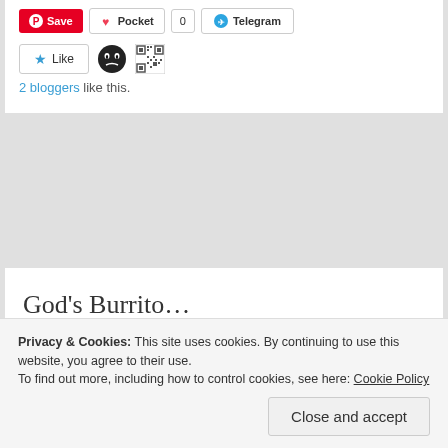[Figure (screenshot): Social share buttons row: Save (Pinterest, red), Pocket (with heart icon and count 0), Telegram button]
[Figure (screenshot): Like button with star icon, evil face avatar icon, QR code avatar icon. Text: 2 bloggers like this.]
God’s Burrito…
MAY 6, 2016   2 COMMENTS
[Figure (photo): Close-up photo of a burrito with colorful fillings including red peppers, green vegetables, visible through the open wrap on a blurred background.]
Privacy & Cookies: This site uses cookies. By continuing to use this website, you agree to their use.
To find out more, including how to control cookies, see here: Cookie Policy
Close and accept